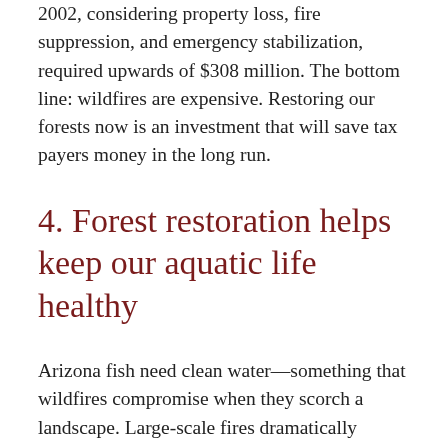2002, considering property loss, fire suppression, and emergency stabilization, required upwards of $308 million. The bottom line: wildfires are expensive. Restoring our forests now is an investment that will save tax payers money in the long run.
4. Forest restoration helps keep our aquatic life healthy
Arizona fish need clean water—something that wildfires compromise when they scorch a landscape. Large-scale fires dramatically increase the risk of flooding, both within the burn footprint and farther downstream. And big rainstorms following fires can send loads of ash, debris, mud, and silt into our creeks and streams, blanketing